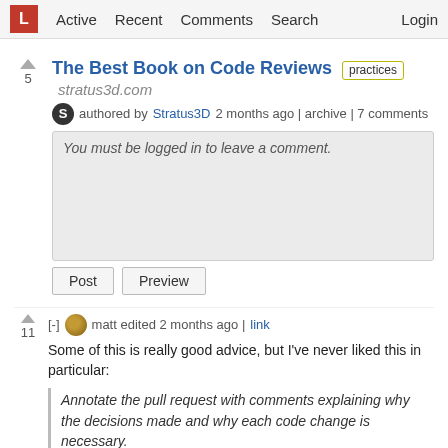L  Active  Recent  Comments  Search  Login
The Best Book on Code Reviews  practices  stratus3d.com
authored by Stratus3D 2 months ago | archive | 7 comments
You must be logged in to leave a comment.
Post  Preview
[-] matt edited 2 months ago | link
Some of this is really good advice, but I've never liked this in particular:
Annotate the pull request with comments explaining why the decisions made and why each code change is necessary.
I generally ask people who add comments to their pull requests explaining the “why” behind why the code in the PR is the way it is, to put those where comments where they belong: in the